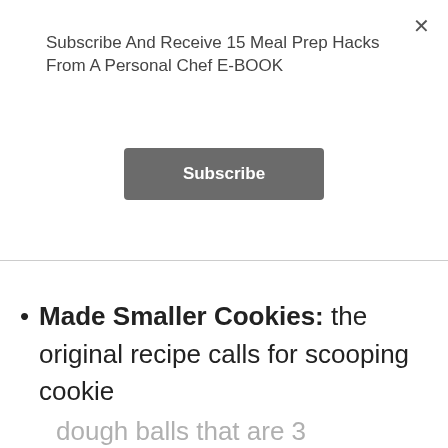Subscribe And Receive 15 Meal Prep Hacks From A Personal Chef E-BOOK
[Figure (other): Subscribe button — a dark grey rectangular button with white bold text 'Subscribe']
Made Smaller Cookies: the original recipe calls for scooping cookie dough balls that are 3 tablespoons in size. I made each cookie 2 tbsp